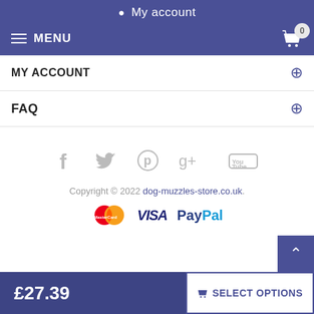My account
MENU
MY ACCOUNT
FAQ
[Figure (other): Social media icons: Facebook, Twitter, Pinterest, Google+, YouTube]
Copyright © 2022 dog-muzzles-store.co.uk.
[Figure (other): Payment logos: MasterCard, VISA, PayPal]
£27.39   SELECT OPTIONS